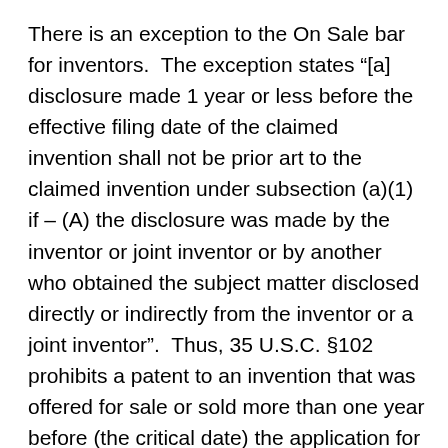There is an exception to the On Sale bar for inventors.  The exception states “[a] disclosure made 1 year or less before the effective filing date of the claimed invention shall not be prior art to the claimed invention under subsection (a)(1) if – (A) the disclosure was made by the inventor or joint inventor or by another who obtained the subject matter disclosed directly or indirectly from the inventor or a joint inventor”.  Thus, 35 U.S.C. §102 prohibits a patent to an invention that was offered for sale or sold more than one year before (the critical date) the application for the patent was filed.  The earliest date of an offer for sale or the sale of an invention is the “critical date”, and an application for a patent on the invention must be